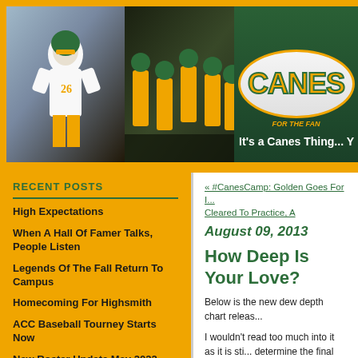[Figure (photo): CanesTime website header banner with Miami Hurricanes football players in orange and white uniforms, and the CanesTime logo with orange text on dark green background. Tagline: It's a Canes Thing... Y]
RECENT POSTS
High Expectations
When A Hall Of Famer Talks, People Listen
Legends Of The Fall Return To Campus
Homecoming For Highsmith
ACC Baseball Tourney Starts Now
New Roster Update May 2022
Miami Roster: Tony Breaks It Down
« #CanesCamp: Golden Goes For I... Cleared To Practice, A
August 09, 2013
How Deep Is Your Love?
Below is the new dew depth chart releas...
I wouldn't read too much into it as it is sti... determine the final lineup and many play... back from injury or surgery.
[Figure (photo): Bottom photo thumbnail, partially visible, showing sports-related image]